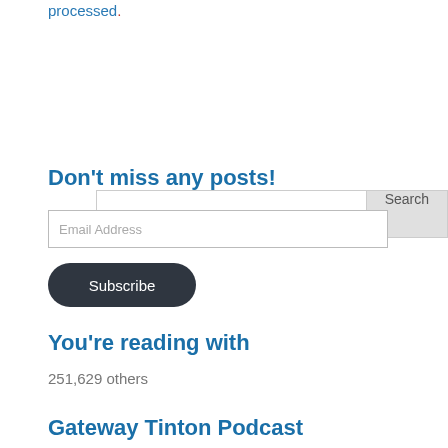processed.
[Figure (screenshot): Search input box with a grey Search button on the right]
Don't miss any posts!
Email Address
Subscribe
You're reading with
251,629 others
Gateway Tinton Podcast